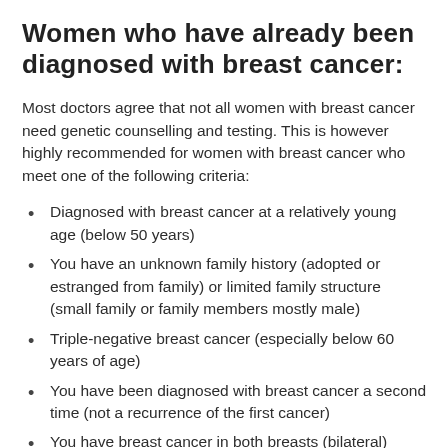Women who have already been diagnosed with breast cancer:
Most doctors agree that not all women with breast cancer need genetic counselling and testing. This is however highly recommended for women with breast cancer who meet one of the following criteria:
Diagnosed with breast cancer at a relatively young age (below 50 years)
You have an unknown family history (adopted or estranged from family) or limited family structure (small family or family members mostly male)
Triple-negative breast cancer (especially below 60 years of age)
You have been diagnosed with breast cancer a second time (not a recurrence of the first cancer)
You have breast cancer in both breasts (bilateral)